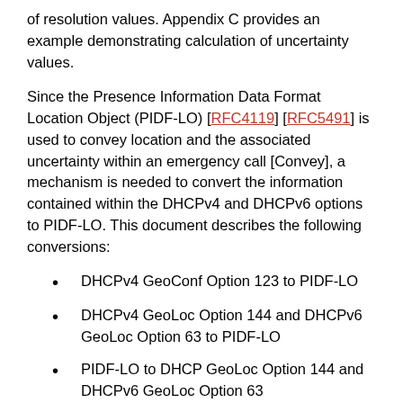of resolution values. Appendix C provides an example demonstrating calculation of uncertainty values.
Since the Presence Information Data Format Location Object (PIDF-LO) [RFC4119] [RFC5491] is used to convey location and the associated uncertainty within an emergency call [Convey], a mechanism is needed to convert the information contained within the DHCPv4 and DHCPv6 options to PIDF-LO. This document describes the following conversions:
DHCPv4 GeoConf Option 123 to PIDF-LO
DHCPv4 GeoLoc Option 144 and DHCPv6 GeoLoc Option 63 to PIDF-LO
PIDF-LO to DHCP GeoLoc Option 144 and DHCPv6 GeoLoc Option 63
Conversion to PIDF-LO does not increase uncertainty; conversion from PIDF-LO to the DHCPv4 GeoLoc Option 144 and the DHCPv6 GeoLoc Option 63 is...